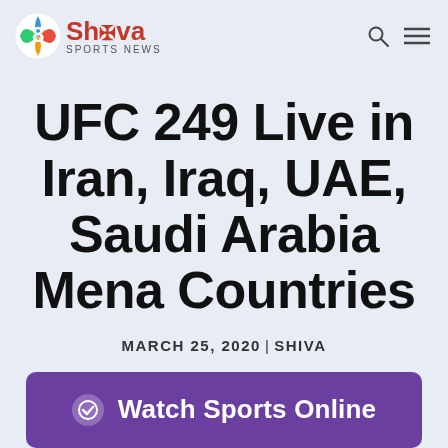Shiva Sports News
UFC 249 Live in Iran, Iraq, UAE, Saudi Arabia Mena Countries
MARCH 25, 2020 | SHIVA
[Figure (other): Watch Sports Online button with checkmark icon on purple background]